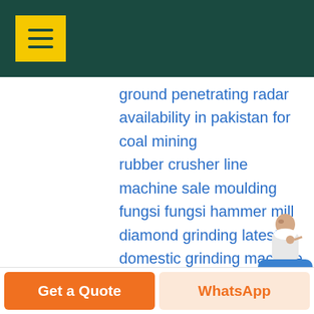ground penetrating radar availability in pakistan for coal mining
rubber crusher line
machine sale moulding
fungsi fungsi hammer mill
diamond grinding latest
domestic grinding machine
life grindstone tagged
hammer rotor equipment
copper leaching heap
red chilli grinding plant
making coal provide
gold washing machines mexico
Get a Quote  WhatsApp